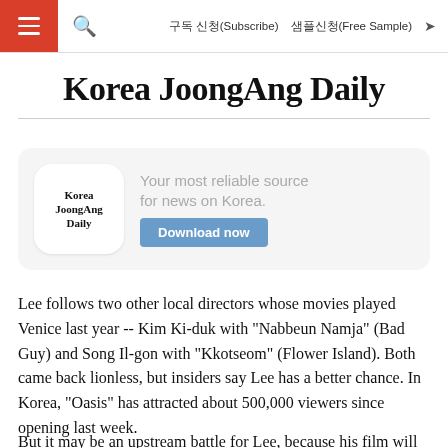Korea JoongAng Daily — 구독 신청(Subscribe)  샘플신청(Free Sample)
Korea JoongAng Daily
[Figure (logo): Korea JoongAng Daily app logo with text and Download now button. Tagline: Your most reliable source for news on Korea.]
Lee follows two other local directors whose movies played Venice last year -- Kim Ki-duk with "Nabbeun Namja" (Bad Guy) and Song Il-gon with "Kkotseom" (Flower Island). Both came back lionless, but insiders say Lee has a better chance. In Korea, "Oasis" has attracted about 500,000 viewers since opening last week.
But it may be an upstream battle for Lee, because his film will be